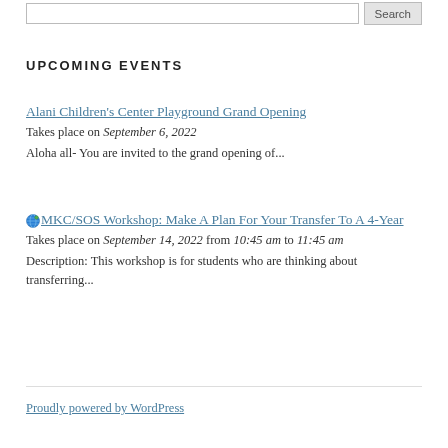UPCOMING EVENTS
Alani Children's Center Playground Grand Opening
Takes place on September 6, 2022
Aloha all- You are invited to the grand opening of...
MKC/SOS Workshop: Make A Plan For Your Transfer To A 4-Year
Takes place on September 14, 2022 from 10:45 am to 11:45 am
Description: This workshop is for students who are thinking about transferring...
Proudly powered by WordPress